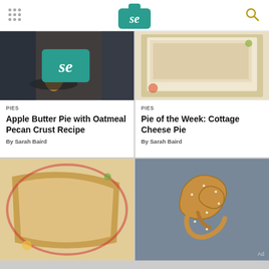Serious Eats logo and navigation
[Figure (screenshot): Cooking with flame in a pan with SE logo overlay]
PIES
Apple Butter Pie with Oatmeal Pecan Crust Recipe
By Sarah Baird
[Figure (photo): Cottage cheese pie slice on decorative plate with butterflies]
PIES
Pie of the Week: Cottage Cheese Pie
By Sarah Baird
[Figure (photo): Close-up of pie slice on butterfly decorated plate]
[Figure (photo): Twisted pretzel snacks covered in sesame seeds on grey surface with Ad label]